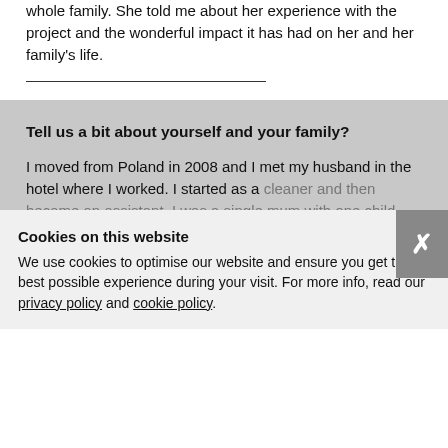whole family. She told me about her experience with the project and the wonderful impact it has had on her and her family's life.
Tell us a bit about yourself and your family?
I moved from Poland in 2008 and I met my husband in the hotel where I worked. I started as a cleaner and then became an assistant. I was a single mum with one child already, and now I'm a single mum again with four children. Oscar is 10, the second and third – Lyia and Maxter are twins, and the youngest, Alexi, is 4.
Cookies on this website
We use cookies to optimise our website and ensure you get the best possible experience during your visit. For more info, read our privacy policy and cookie policy.
Did you make music before getting involved